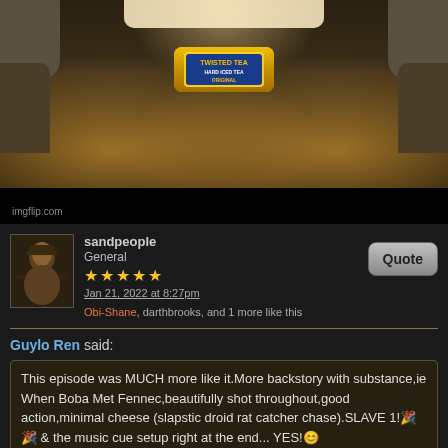[Figure (screenshot): A Twisted Tea can placed in a futuristic sci-fi machine/crusher device, glowing with orange/amber light, from imgflip.com]
imgflip.com
sandpeople
General
★★★★★
Jan 21, 2022 at 8:27pm
Obi-Shane, darthbrooks, and 1 more like this
Quote
Guylo Ren said:
This episode was MUCH more like it.More backstory with substance,ie When Boba Met Fennec,beautifully shot throughout,good action,minimal cheese (slapstic droid rat catcher chase).SLAVE 1!🎉🎉 & the music cue setup right at the end... YES!😊